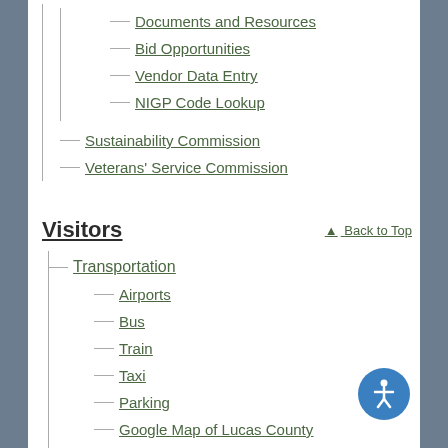Documents and Resources
Bid Opportunities
Vendor Data Entry
NIGP Code Lookup
Sustainability Commission
Veterans' Service Commission
Visitors
Transportation
Airports
Bus
Train
Taxi
Parking
Google Map of Lucas County
Community Profile